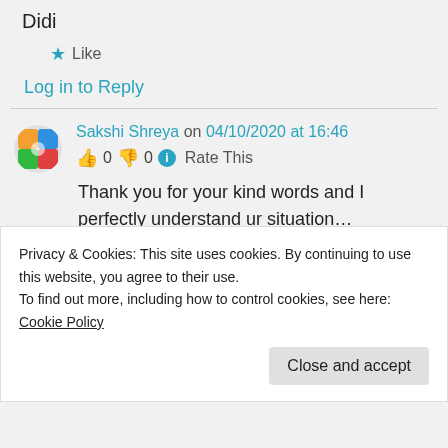Didi
★ Like
Log in to Reply
Sakshi Shreya on 04/10/2020 at 16:46
👍 0 👎 0 ℹ Rate This
Thank you for your kind words and I perfectly understand ur situation…
Privacy & Cookies: This site uses cookies. By continuing to use this website, you agree to their use.
To find out more, including how to control cookies, see here: Cookie Policy